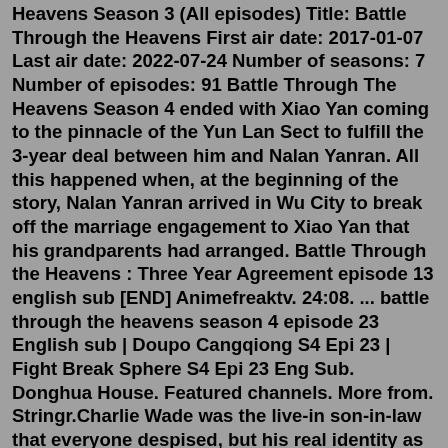Heavens Season 3 (All episodes) Title: Battle Through the Heavens First air date: 2017-01-07 Last air date: 2022-07-24 Number of seasons: 7 Number of episodes: 91 Battle Through The Heavens Season 4 ended with Xiao Yan coming to the pinnacle of the Yun Lan Sect to fulfill the 3-year deal between him and Nalan Yanran. All this happened when, at the beginning of the story, Nalan Yanran arrived in Wu City to break off the marriage engagement to Xiao Yan that his grandparents had arranged. Battle Through the Heavens : Three Year Agreement episode 13 english sub [END] Animefreaktv. 24:08. ... battle through the heavens season 4 episode 23 English sub | Doupo Cangqiong S4 Epi 23 | Fight Break Sphere S4 Epi 23 Eng Sub. Donghua House. Featured channels. More from. Stringr.Charlie Wade was the live-in son-in-law that everyone despised, but his real identity as the heir of a prominent family remained a secret. He swore that one day, those who shunned him would kneel before him and beg for mercy, eventually!